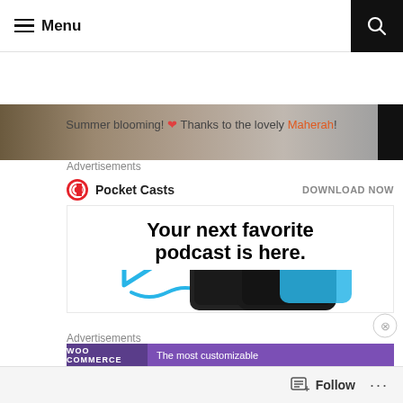Menu
[Figure (photo): Partial view of a summer blooming garden photo strip]
Summer blooming! ❤ Thanks to the lovely Maherah!
Advertisements
[Figure (screenshot): Pocket Casts advertisement banner with logo, DOWNLOAD NOW button, headline 'Your next favorite podcast is here.' and phone mockup images showing Up Next interface]
Advertisements
[Figure (screenshot): WooCommerce advertisement banner showing purple background with logo and 'The most customizable' tagline]
Follow ...